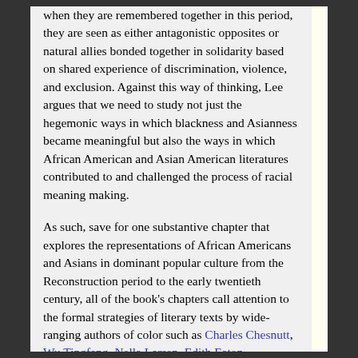when they are remembered together in this period, they are seen as either antagonistic opposites or natural allies bonded together in solidarity based on shared experience of discrimination, violence, and exclusion. Against this way of thinking, Lee argues that we need to study not just the hegemonic ways in which blackness and Asianness became meaningful but also the ways in which African American and Asian American literatures contributed to and challenged the process of racial meaning making.
As such, save for one substantive chapter that explores the representations of African Americans and Asians in dominant popular culture from the Reconstruction period to the early twentieth century, all of the book's chapters call attention to the formal strategies of literary texts by wide-ranging authors of color such as Charles Chesnutt, Wu Tingfang, Nella Larsen, Edith Eaton, Winnifred Eaton, W.E.B. Du Bois, and Younghill Kang. Lee's focus on these texts and authors decenters whiteness as ostensibly the a